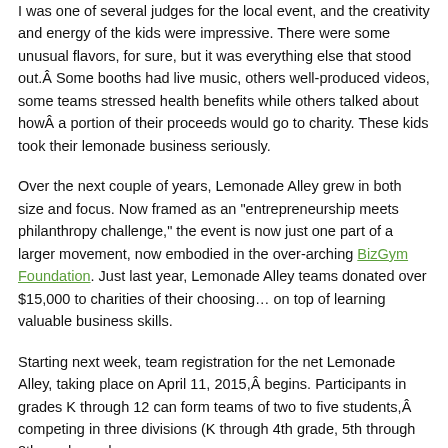I was one of several judges for the local event, and the creativity and energy of the kids were impressive. There were some unusual flavors, for sure, but it was everything else that stood out.Â Some booths had live music, others well-produced videos, some teams stressed health benefits while others talked about howÂ a portion of their proceeds would go to charity. These kids took their lemonade business seriously.
Over the next couple of years, Lemonade Alley grew in both size and focus. Now framed as an “entrepreneurship meets philanthropy challenge,” the event is now just one part of a larger movement, now embodied in the over-arching BizGym Foundation. Just last year, Lemonade Alley teams donated over $15,000 to charities of their choosing… on top of learning valuable business skills.
Starting next week, team registration for the net Lemonade Alley, taking place on April 11, 2015,Â begins. Participants in grades K through 12 can form teams of two to five students,Â competing in three divisions (K through 4th grade, 5th through 8th grade, and